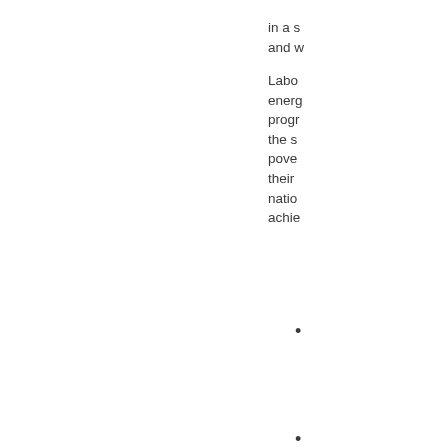in a s and w
Labo energ progr the s pove their natio achie
•
•